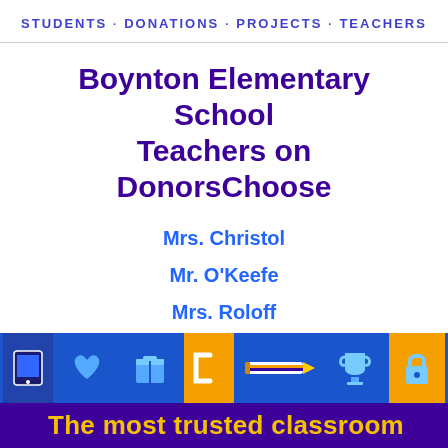STUDENTS · DONATIONS · PROJECTS · TEACHERS
Boynton Elementary School Teachers on DonorsChoose
Mrs. Christol
Mr. O'Keefe
Mrs. Roloff
Mrs. Slaven
Ms. hodge
[Figure (illustration): Colorful icon strip with educational icons on blue background including a tablet, heart, box, brackets, pencil, trophy, and lock on orange/blue tiles]
The most trusted classroom